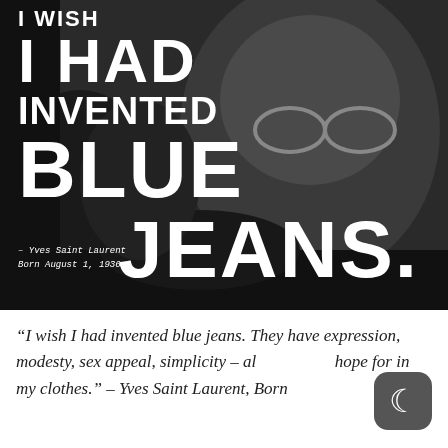[Figure (infographic): Black and white photo of Yves Saint Laurent with large white bold text overlaid reading 'I WISH I HAD INVENTED BLUE JEANS.' with attribution '- Yves Saint Laurent Born August 1, 1936.' in monospace font at bottom left.]
“I wish I had invented blue jeans. They have expression, modesty, sex appeal, simplicity – all I hope for in my clothes.” – Yves Saint Laurent, Born